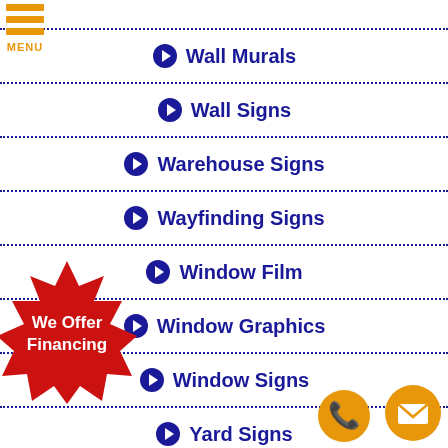Wall Murals
Wall Signs
Warehouse Signs
Wayfinding Signs
Window Film
Window Graphics
Window Signs
Yard Signs
[Figure (illustration): Red starburst badge with text 'We Offer Financing']
[Figure (illustration): Orange circle phone button]
[Figure (illustration): Orange circle email/envelope button]